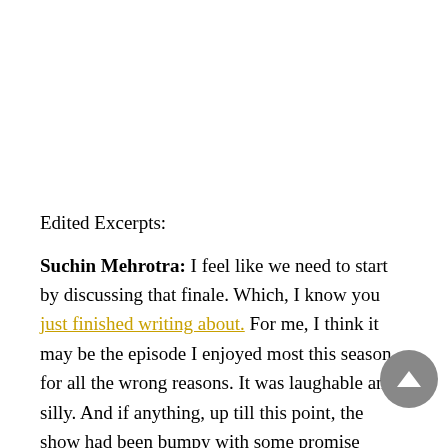Edited Excerpts:
Suchin Mehrotra: I feel like we need to start by discussing that finale. Which, I know you just finished writing about. For me, I think it may be the episode I enjoyed most this season, for all the wrong reasons. It was laughable and silly. And if anything, up till this point, the show had been bumpy with some promise #Episode5, but this finale was the final nail in coffin, confirming that this show has been a